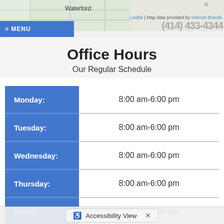[Figure (screenshot): Partial map background showing Waterford area with street grid, and map attribution text 'Leaflet | Map data provided by Internet Brands']
MENU   (414) 433-4344
Office Hours
Our Regular Schedule
| Day | Hours |
| --- | --- |
| Monday: | 8:00 am-6:00 pm |
| Tuesday: | 8:00 am-6:00 pm |
| Wednesday: | 8:00 am-6:00 pm |
| Thursday: | 8:00 am-6:00 pm |
| Friday: | 8:00 am-6:00 pm |
Accessibility View  ✕